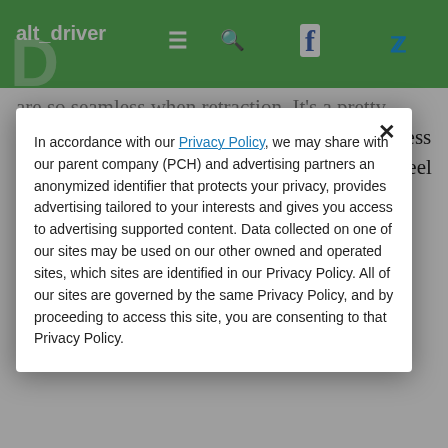alt_driver
are so seamless when retraction. It's a pretty simple process. All the driver needs to do is press a button, which retracts the wheels into the wheel wells within the vehicle?s body and detaches them from the drivetrain. Featuring a top speed of 45 MPH on both land
In accordance with our Privacy Policy, we may share with our parent company (PCH) and advertising partners an anonymized identifier that protects your privacy, provides advertising tailored to your interests and gives you access to advertising supported content. Data collected on one of our sites may be used on our other owned and operated sites, which sites are identified in our Privacy Policy. All of our sites are governed by the same Privacy Policy, and by proceeding to access this site, you are consenting to that Privacy Policy.